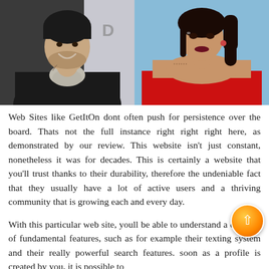[Figure (photo): Two photos side by side: left shows a man in a dark jacket smiling, right shows a woman in a red off-shoulder dress]
Web Sites like GetItOn dont often push for persistence over the board. Thats not the full instance right right right here, as demonstrated by our review. This website isn't just constant, nonetheless it was for decades. This is certainly a website that you'll trust thanks to their durability, therefore the undeniable fact that they usually have a lot of active users and a thriving community that is growing each and every day.
With this particular web site, youll be able to understand a quantity of fundamental features, such as for example their texting system and their really powerful search features. soon as a profile is created by you, it is possible to